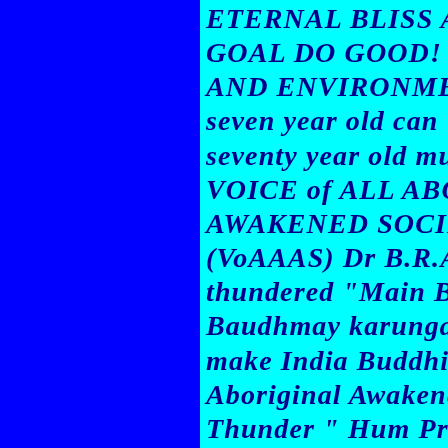ETERNAL BLISS AS GOAL DO GOOD! P AND ENVIRONMENT seven year old can U seventy year old mu VOICE of ALL ABO AWAKENED SOCIET (VoAAAS) Dr B.R.A thundered "Main Bh Baudhmay karunga. make India Buddhis Aboriginal Awakene Thunder " Hum Pra Prabuddha Bharatm (We will make world Prapanch) Mahāsati Sutta — Attendance